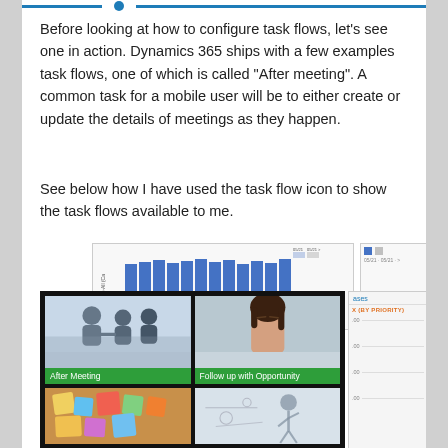Before looking at how to configure task flows, let's see one in action. Dynamics 365 ships with a few examples task flows, one of which is called "After meeting". A common task for a mobile user will be to either create or update the details of meetings as they happen.
See below how I have used the task flow icon to show the task flows available to me.
[Figure (screenshot): Screenshot showing a Dynamics 365 interface with a bar chart on the top and a task flow selection panel on the bottom. The task flow panel shows four tiles: 'After Meeting' (business meeting silhouette image), 'Follow up with Opportunity' (woman with eyes closed image), and two more tiles partially visible at the bottom. Each tile has a green label.]